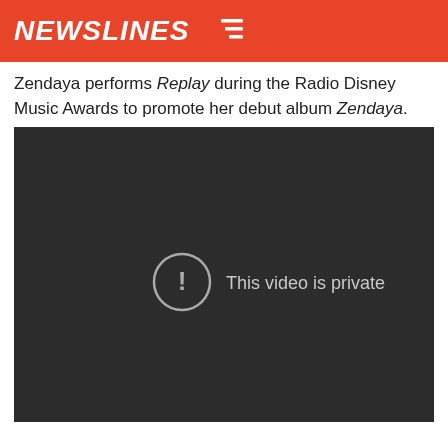NEWSLINES
Zendaya performs Replay during the Radio Disney Music Awards to promote her debut album Zendaya.
[Figure (screenshot): Embedded video player showing a dark background with 'This video is private' message and a circled exclamation mark icon in the center.]